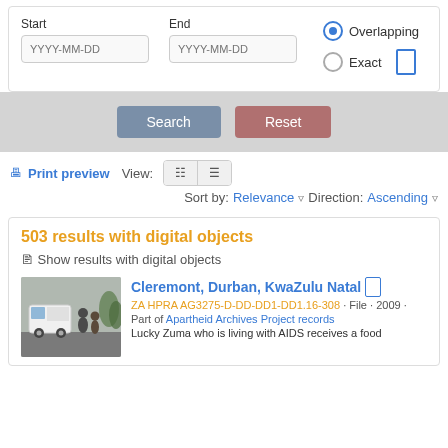[Figure (screenshot): Date range filter UI with Start and End date inputs (YYYY-MM-DD placeholders), Overlapping radio button selected, Exact radio button, and a small blue rectangle icon]
[Figure (screenshot): Search and Reset buttons on a gray background]
Print preview   View:  [grid icon] [list icon]
Sort by: Relevance  Direction: Ascending
503 results with digital objects   Show results with digital objects
[Figure (photo): Thumbnail photo showing a white van and people on a street]
Cleremont, Durban, KwaZulu Natal
ZA HPRA AG3275-D-DD-DD1-DD1.16-308 · File · 2009 ·
Part of Apartheid Archives Project records
Lucky Zuma who is living with AIDS receives a food